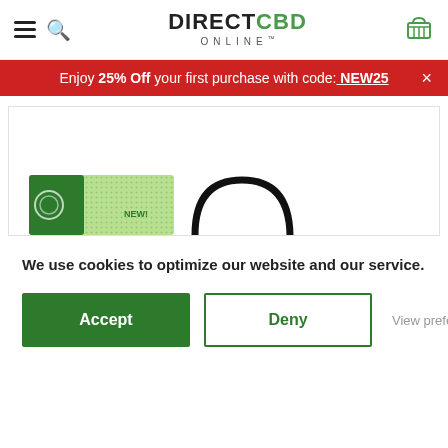DIRECT CBD ONLINE
Enjoy 25% Off your first purchase with code: NEW25
[Figure (photo): Product images: a green patterned CBD product box labeled NEW! on the left, and a partial black circular product on the right, shown against a white background.]
We use cookies to optimize our website and our service.
Accept
Deny
View preferences